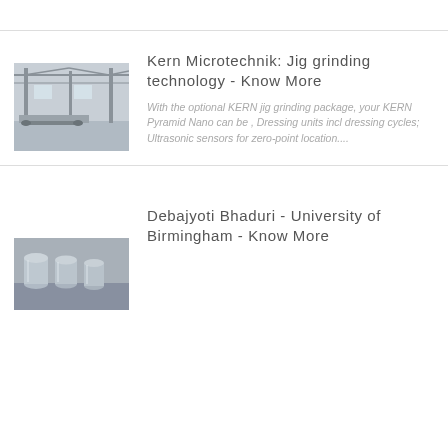Kern Microtechnik: Jig grinding technology - Know More
With the optional KERN jig grinding package, your KERN Pyramid Nano can be , Dressing units incl dressing cycles; Ultrasonic sensors for zero-point location....
[Figure (photo): Industrial factory interior showing machinery and structural steel framework]
Debajyoti Bhaduri - University of Birmingham - Know More
[Figure (photo): Close-up of precision machined cylindrical metal parts on a surface]